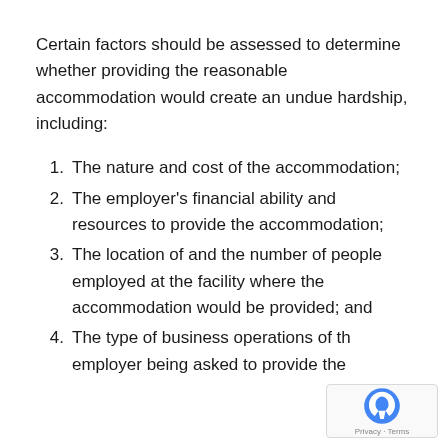Certain factors should be assessed to determine whether providing the reasonable accommodation would create an undue hardship, including:
The nature and cost of the accommodation;
The employer's financial ability and resources to provide the accommodation;
The location of and the number of people employed at the facility where the accommodation would be provided; and
The type of business operations of the employer being asked to provide the